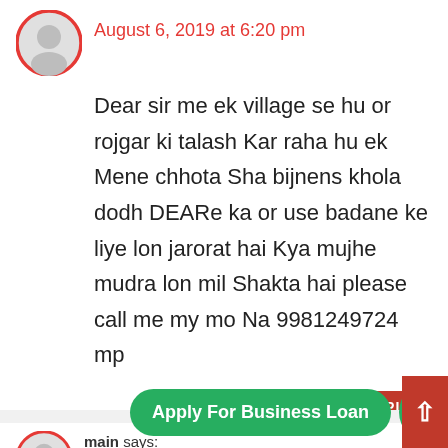August 6, 2019 at 6:20 pm
Dear sir me ek village se hu or rojgar ki talash Kar raha hu ek Mene chhota Sha bijnens khola dodh DEARe ka or use badane ke liye lon jarorat hai Kya mujhe mudra lon mil Shakta hai please call me my mo Na 9981249724 mp
REPLY
Apply For Business Loan
main says:
August 9, 2019 at 12:44 pm